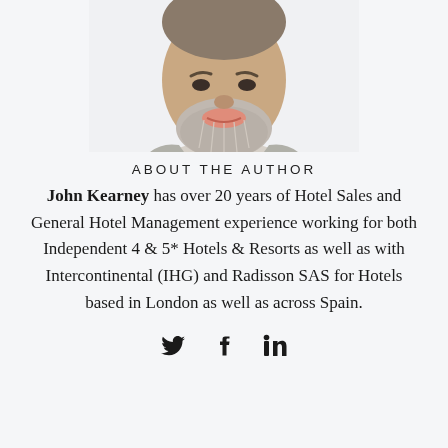[Figure (photo): Cropped headshot of a man with a grey beard wearing a light grey blazer, showing from the collar/chin area upward, with a white background.]
ABOUT THE AUTHOR
John Kearney has over 20 years of Hotel Sales and General Hotel Management experience working for both Independent 4 & 5* Hotels & Resorts as well as with Intercontinental (IHG) and Radisson SAS for Hotels based in London as well as across Spain.
[Figure (illustration): Social media icons: Twitter bird icon, Facebook f icon, LinkedIn in icon]